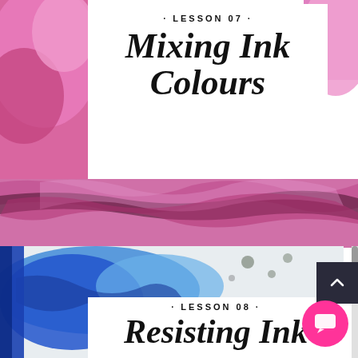[Figure (illustration): Lesson 07 card with title 'Mixing Ink Colours' on white background over pink watercolor brush strokes]
· LESSON 07 ·
Mixing Ink Colours
[Figure (photo): Pink and magenta watercolor ink brush strokes background]
[Figure (photo): Blue ink watercolor smear on light grey/white background]
· LESSON 08 ·
Resisting Ink